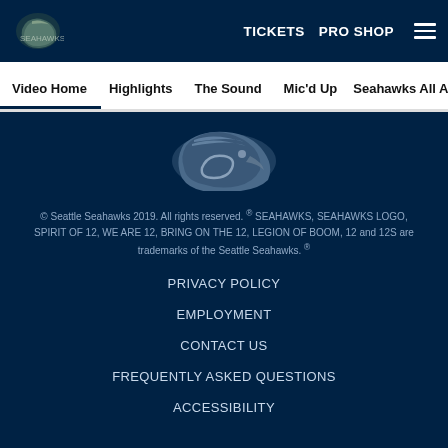TICKETS   PRO SHOP   ☰
Video Home   Highlights   The Sound   Mic'd Up   Seahawks All Ac
[Figure (logo): Seattle Seahawks helmet logo centered in dark navy footer area]
© Seattle Seahawks 2019. All rights reserved. ® SEAHAWKS, SEAHAWKS LOGO, SPIRIT OF 12, WE ARE 12, BRING ON THE 12, LEGION OF BOOM, 12 and 12S are trademarks of the Seattle Seahawks. ®
PRIVACY POLICY
EMPLOYMENT
CONTACT US
FREQUENTLY ASKED QUESTIONS
ACCESSIBILITY